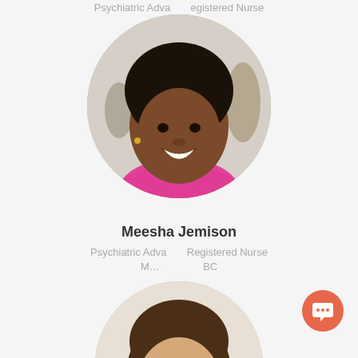Psychiatric Adva... ...Registered Nurse
[Figure (photo): Circular profile photo of Meesha Jemison, a woman wearing a pink top, smiling, with natural hair, against a light background.]
Meesha Jemison
Psychiatric Adva... ...Registered Nurse
M... ...BC
[Figure (photo): Circular profile photo of a second woman with long brown hair, partially visible, cropped at bottom of page.]